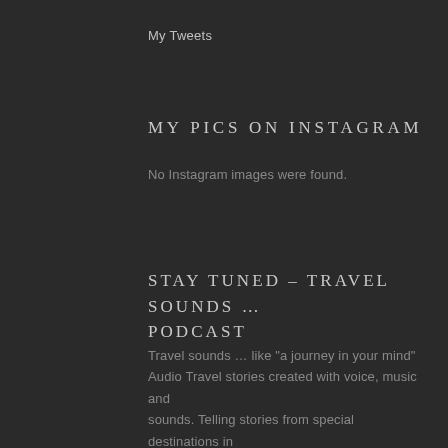My Tweets
MY PICS ON INSTAGRAM
No Instagram images were found.
STAY TUNED – TRAVEL SOUNDS … PODCAST
Travel sounds … like "a journey in your mind" Audio Travel stories created with voice, music and sounds. Telling stories from special destinations in Europe and worldwide with Tipps for disability accessable experiences!